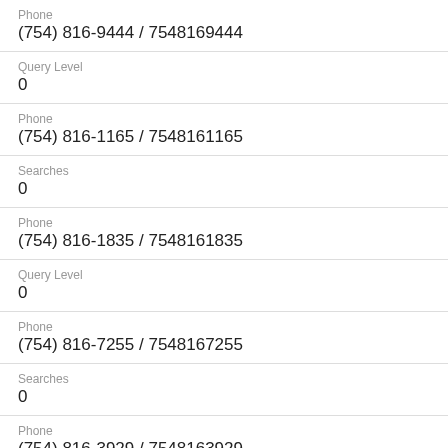Phone
(754) 816-9444 / 7548169444
Query Level
0
Phone
(754) 816-1165 / 7548161165
Searches
0
Phone
(754) 816-1835 / 7548161835
Query Level
0
Phone
(754) 816-7255 / 7548167255
Searches
0
Phone
(754) 816-3929 / 7548163929